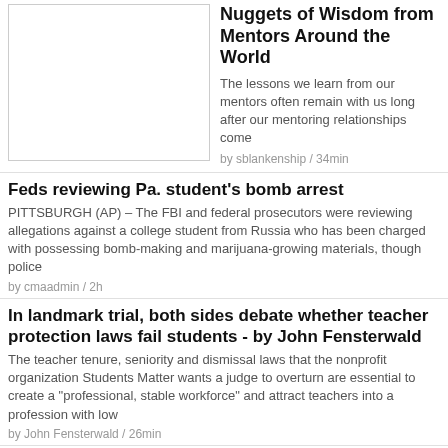[Figure (photo): Blank/white placeholder image box with gray border]
Nuggets of Wisdom from Mentors Around the World
The lessons we learn from our mentors often remain with us long after our mentoring relationships come
by sblankenship / 34min
Feds reviewing Pa. student's bomb arrest
PITTSBURGH (AP) – The FBI and federal prosecutors were reviewing allegations against a college student from Russia who has been charged with possessing bomb-making and marijuana-growing materials, though police
by cmaadmin / 2h
In landmark trial, both sides debate whether teacher protection laws fail students - by John Fensterwald
The teacher tenure, seniority and dismissal laws that the nonprofit organization Students Matter wants a judge to overturn are essential to create a "professional, stable workforce" and attract teachers into a profession with low
by John Fensterwald / 26min
[Figure (photo): Photo of a woman speaking at a microphone, wearing a grey jacket, in front of a blue background]
D.C. school boundary overhaul on track; parents uneasy but meetings are promised